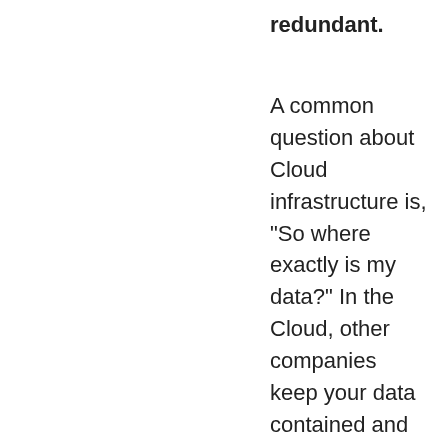redundant.
A common question about Cloud infrastructure is, "So where exactly is my data?" In the Cloud, other companies keep your data contained and secured better than you do yourself. An example is redundancy. The Cloud players deal with massive amounts of data, and consequently have very stable services. We're talking Microsoft, Google and others (companies who have the resources to ensure the data under their control is redundant). The loss of a hard drive, a server, a building or even a city should not affect you being able